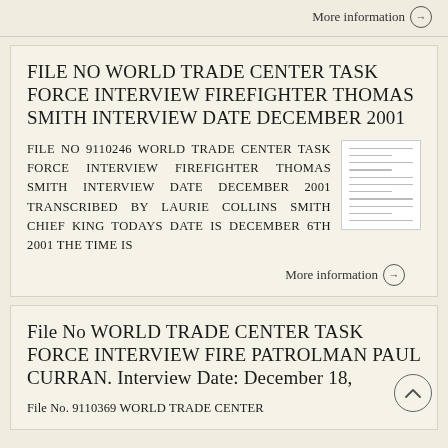More information →
FILE NO WORLD TRADE CENTER TASK FORCE INTERVIEW FIREFIGHTER THOMAS SMITH INTERVIEW DATE DECEMBER 2001
FILE NO 9110246 WORLD TRADE CENTER TASK FORCE INTERVIEW FIREFIGHTER THOMAS SMITH INTERVIEW DATE DECEMBER 2001 TRANSCRIBED BY LAURIE COLLINS SMITH CHIEF KING TODAYS DATE IS DECEMBER 6TH 2001 THE TIME IS
More information →
File No WORLD TRADE CENTER TASK FORCE INTERVIEW FIRE PATROLMAN PAUL CURRAN. Interview Date: December 18,
File No. 9110369 WORLD TRADE CENTER